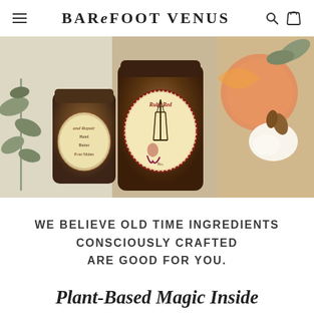BAREFOOT VENUS
[Figure (photo): Hero image showing amber glass jars of Barefoot Venus products with vintage-style illustrated labels featuring the Eiffel Tower and a pin-up girl, surrounded by fruit, cream, and botanical illustrations]
WE BELIEVE OLD TIME INGREDIENTS CONSCIOUSLY CRAFTED ARE GOOD FOR YOU.
Plant-Based Magic Inside